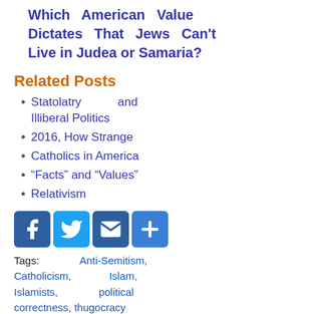Which American Value Dictates That Jews Can't Live in Judea or Samaria?
Related Posts
Statolatry and Illiberal Politics
2016, How Strange
Catholics in America
“Facts” and “Values”
Relativism
[Figure (other): Social sharing icons: Facebook, Twitter, Email, Plus/Share]
Tags: Anti-Semitism, Catholicism, Islam, Islamists, political correctness, thugocracy
POSTED 2016/12/29, 7:07 AM · CATEGORY: